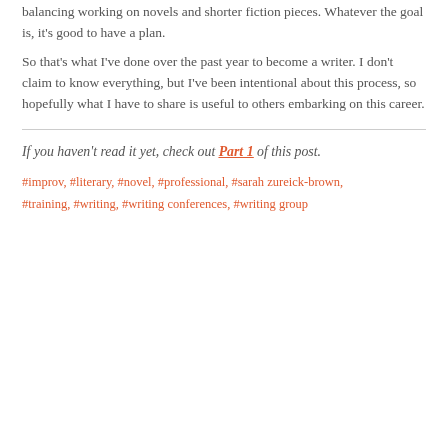balancing working on novels and shorter fiction pieces. Whatever the goal is, it's good to have a plan.
So that's what I've done over the past year to become a writer. I don't claim to know everything, but I've been intentional about this process, so hopefully what I have to share is useful to others embarking on this career.
If you haven't read it yet, check out Part 1 of this post.
#improv, #literary, #novel, #professional, #sarah zureick-brown, #training, #writing, #writing conferences, #writing group